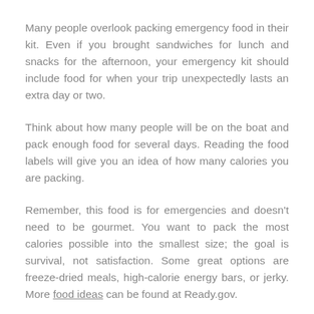Many people overlook packing emergency food in their kit. Even if you brought sandwiches for lunch and snacks for the afternoon, your emergency kit should include food for when your trip unexpectedly lasts an extra day or two.
Think about how many people will be on the boat and pack enough food for several days. Reading the food labels will give you an idea of how many calories you are packing.
Remember, this food is for emergencies and doesn't need to be gourmet. You want to pack the most calories possible into the smallest size; the goal is survival, not satisfaction. Some great options are freeze-dried meals, high-calorie energy bars, or jerky. More food ideas can be found at Ready.gov.